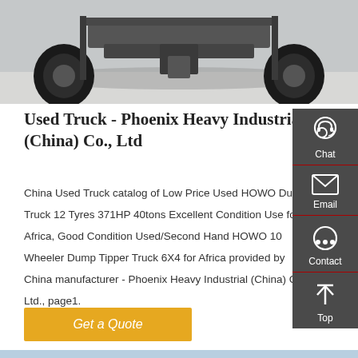[Figure (photo): Underside/rear view of a heavy truck showing axles, wheels and tires on pavement, gray background.]
Used Truck - Phoenix Heavy Industrial (China) Co., Ltd
China Used Truck catalog of Low Price Used HOWO Dump Truck 12 Tyres 371HP 40tons Excellent Condition Use for Africa, Good Condition Used/Second Hand HOWO 10 Wheeler Dump Tipper Truck 6X4 for Africa provided by China manufacturer - Phoenix Heavy Industrial (China) Co., Ltd., page1.
[Figure (screenshot): Right sidebar with dark gray background showing Chat, Email, Contact, and Top navigation icons in white.]
Get a Quote
[Figure (photo): Bottom partial image strip showing a light blue sky and a hint of a red object.]